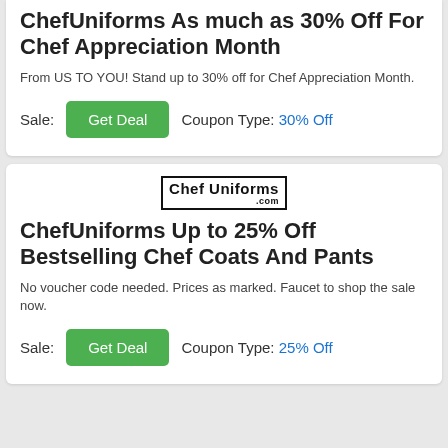ChefUniforms As much as 30% Off For Chef Appreciation Month
From US TO YOU! Stand up to 30% off for Chef Appreciation Month.
Sale: Get Deal  Coupon Type: 30% Off
[Figure (logo): ChefUniforms.com logo]
ChefUniforms Up to 25% Off Bestselling Chef Coats And Pants
No voucher code needed. Prices as marked. Faucet to shop the sale now.
Sale: Get Deal  Coupon Type: 25% Off